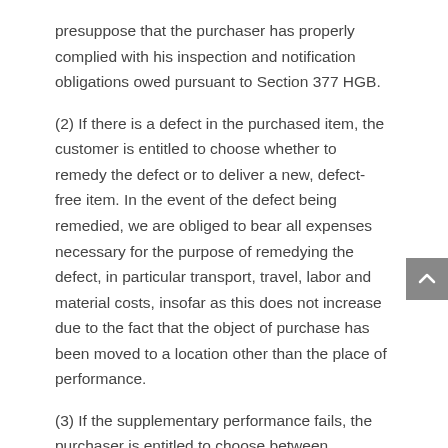presuppose that the purchaser has properly complied with his inspection and notification obligations owed pursuant to Section 377 HGB.
(2) If there is a defect in the purchased item, the customer is entitled to choose whether to remedy the defect or to deliver a new, defect-free item. In the event of the defect being remedied, we are obliged to bear all expenses necessary for the purpose of remedying the defect, in particular transport, travel, labor and material costs, insofar as this does not increase due to the fact that the object of purchase has been moved to a location other than the place of performance.
(3) If the supplementary performance fails, the purchaser is entitled to choose between withdrawing or reducing the price.
(4) We are liable according to the statutory provisions if the purchaser asserts claims for damages based on